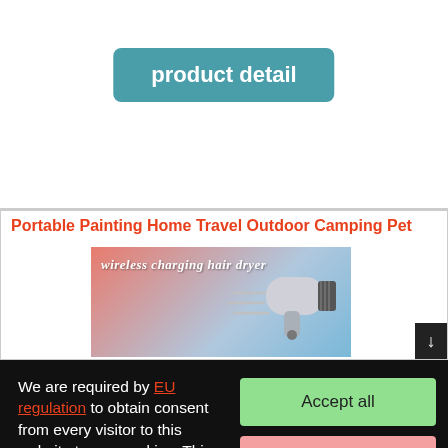[Figure (screenshot): A teal/blue rounded button labeled 'product detail' on a white background]
Portable Painting Home Travel Outdoor Camping Pet
[Figure (photo): Product image showing a wireless charging hair dryer on a pink and blue gradient background with text 'wireless charging hair dryer']
We are required by EU regulation to obtain consent from every visitor to this website to use cookies. This website uses cookies to ensure functionality and, with your consent, to personalise content and measure traffic, among other things. By clicking on the "Accept All" button, you agree to the use of cookies and to the transfer of website behavioural data for the display of targeted advertising on social networks, advertising networks on other sites.
Accept all
Reject all
Detailed settings